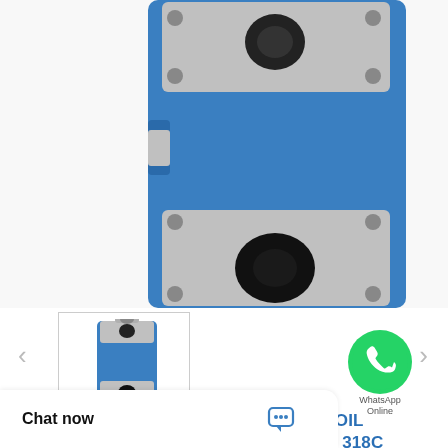[Figure (photo): Blue hydraulic engine oil pump unit for excavator, shown from front angle. Metal grey flange connections top and bottom with bolt holes, black shaft/port in center.]
[Figure (photo): Small thumbnail image of the same blue hydraulic oil pump, showing three-quarter view.]
[Figure (logo): WhatsApp green circle logo with phone handset icon, labeled 'WhatsApp Online']
1786539 34335-23010 ENGINE OIL PUMP FOR EXCAVATOR E320B 318C 319C 320C MODELS
Need a CAD or 3D Model?
Contact Now
Chat now